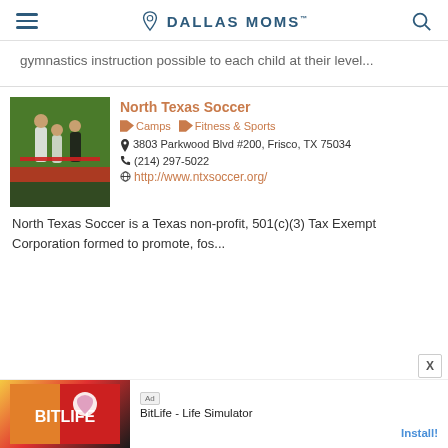DALLAS MOMS
gymnastics instruction possible to each child at their level...
North Texas Soccer
Camps   Fitness & Sports
3803 Parkwood Blvd #200, Frisco, TX 75034
(214) 297-5022
http://www.ntxsoccer.org/
North Texas Soccer is a Texas non-profit, 501(c)(3) Tax Exempt Corporation formed to promote, fos...
[Figure (photo): Soccer players in black and white uniforms on a field]
[Figure (screenshot): Ad banner for BitLife - Life Simulator app]